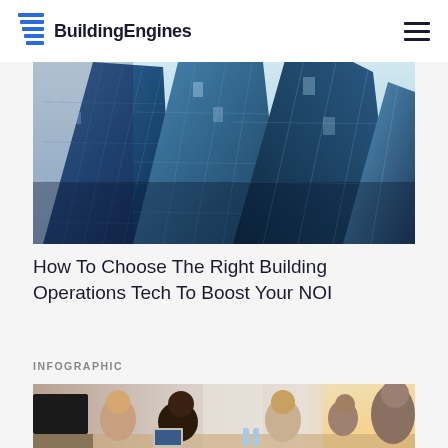BuildingEngines
[Figure (photo): Upward angled view of tall glass skyscrapers with blue reflective glass facades against a bright sky]
How To Choose The Right Building Operations Tech To Boost Your NOI
INFOGRAPHIC
[Figure (photo): Business meeting scene with diverse group of professionals seated around a table, laughing and engaged in discussion, with a laptop and bottles visible on the table, bright windows in background]